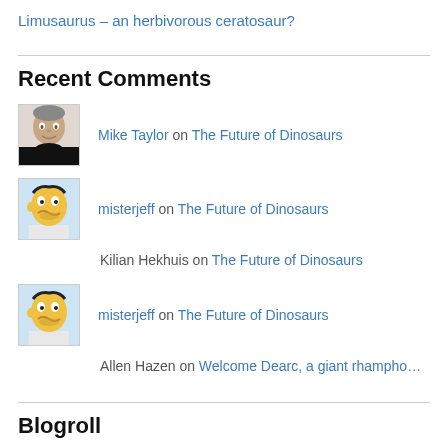Limusaurus – an herbivorous ceratosaur?
Recent Comments
Mike Taylor on The Future of Dinosaurs
misterjeff on The Future of Dinosaurs
Kilian Hekhuis on The Future of Dinosaurs
misterjeff on The Future of Dinosaurs
Allen Hazen on Welcome Dearc, a giant rhampho…
Blogroll